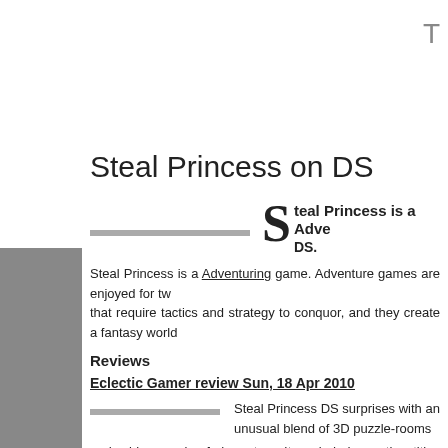T
Steal Princess on DS
teal Princess is a Adventure game on DS.
Steal Princess is a Adventuring game. Adventure games are enjoyed for two reasons: they offer challenges that require tactics and strategy to conquor, and they create a fantasy world
Reviews
Eclectic Gamer review Sun, 18 Apr 2010
Steal Princess DS surprises with an unusual blend of 3D puzzle-rooms and a bizarre mix of characters. It reminded me other titles from my eclectic past like Head Over Heals and Knight Lore on the Spectrum. Only the awkward isometric control system on the DS